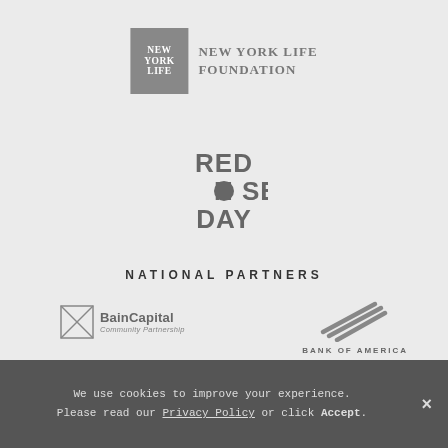[Figure (logo): New York Life Foundation logo — grey square with NYL text beside 'New York Life Foundation' in uppercase serif]
[Figure (logo): Red Nose Day logo in grey bold stacked text: RED NOSE DAY with a circle O]
NATIONAL PARTNERS
[Figure (logo): Bain Capital Community Partnership logo in grey]
[Figure (logo): Bank of America logo in grey with diagonal stripes icon]
We use cookies to improve your experience. Please read our Privacy Policy or click Accept.